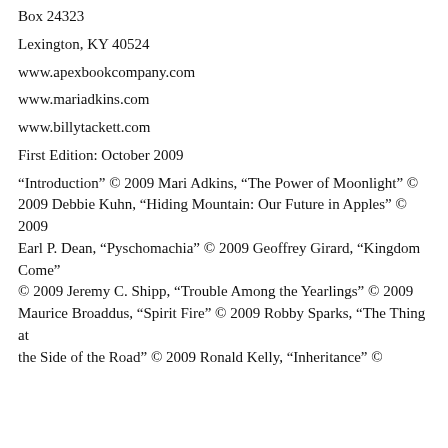Box 24323
Lexington, KY 40524
www.apexbookcompany.com
www.mariadkins.com
www.billytackett.com
First Edition: October 2009
“Introduction” © 2009 Mari Adkins, “The Power of Moonlight” © 2009 Debbie Kuhn, “Hiding Mountain: Our Future in Apples” © 2009 Earl P. Dean, “Pyschomachia” © 2009 Geoffrey Girard, “Kingdom Come” © 2009 Jeremy C. Shipp, “Trouble Among the Yearlings” © 2009 Maurice Broaddus, “Spirit Fire” © 2009 Robby Sparks, “The Thing at the Side of the Road” © 2009 Ronald Kelly, “Inheritance” ©